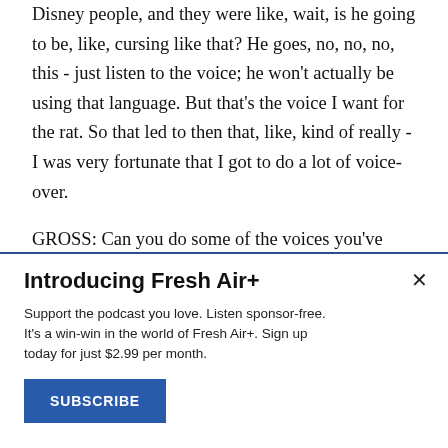Disney people, and they were like, wait, is he going to be, like, cursing like that? He goes, no, no, no, this - just listen to the voice; he won't actually be using that language. But that's the voice I want for the rat. So that led to then that, like, kind of really - I was very fortunate that I got to do a lot of voice-over.
GROSS: Can you do some of the voices you've been doing for animation lately?
Introducing Fresh Air+
Support the podcast you love. Listen sponsor-free. It's a win-win in the world of Fresh Air+. Sign up today for just $2.99 per month.
SUBSCRIBE